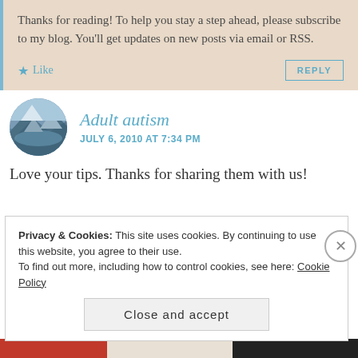Thanks for reading! To help you stay a step ahead, please subscribe to my blog. You'll get updates on new posts via email or RSS.
Like
REPLY
Adult autism
JULY 6, 2010 AT 7:34 PM
Love your tips. Thanks for sharing them with us!
Privacy & Cookies: This site uses cookies. By continuing to use this website, you agree to their use.
To find out more, including how to control cookies, see here: Cookie Policy
Close and accept